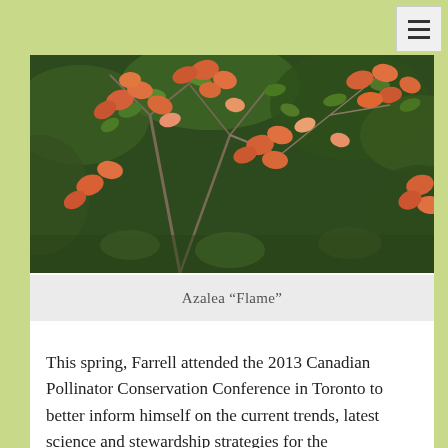[Figure (photo): Photograph of an Azalea 'Flame' plant with bright orange-red flowers and green leaves against a dark green foliage background]
Azalea “Flame”
This spring, Farrell attended the 2013 Canadian Pollinator Conservation Conference in Toronto to better inform himself on the current trends, latest science and stewardship strategies for the conservation of pollinator species.  In the